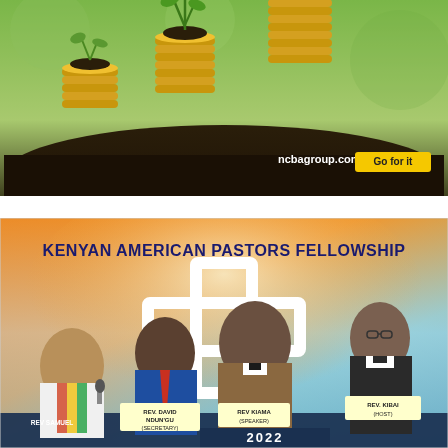[Figure (photo): NCBA bank advertisement showing three stacks of gold coins growing taller with green plants sprouting from dark soil, green background. Text: 'ncbagroup.com' and yellow button 'Go for it']
[Figure (photo): Kenyan American Pastors Fellowship promotional flyer with orange/teal gradient background, white cross silhouette, four pastors: Rev Samuel (left, white robe with colorful stole), Rev David Ndun'gu Secretary (blue suit), Rev Kiama Speaker (centre, smiling), Rev Kibai Host (right, dark clergy shirt with glasses)]